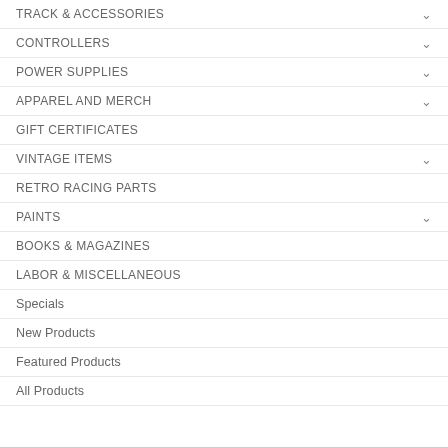TRACK & ACCESSORIES
CONTROLLERS
POWER SUPPLIES
APPAREL AND MERCH
GIFT CERTIFICATES
VINTAGE ITEMS
RETRO RACING PARTS
PAINTS
BOOKS & MAGAZINES
LABOR & MISCELLANEOUS
Specials
New Products
Featured Products
All Products